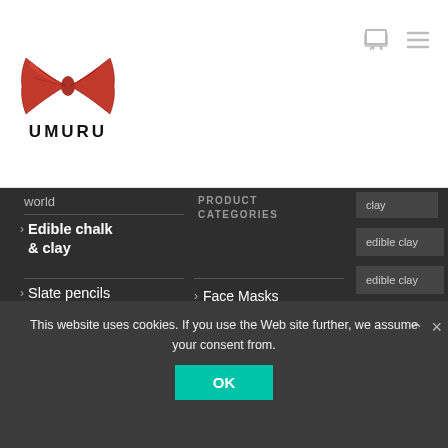[Figure (logo): Umuru logo with red bow tie graphic above text UMURU in stylized font]
world
> Edible chalk & clay
> Slate pencils natural normal & big
PRODUCT CATEGORIES
> Face Masks (4)
> Chalk (100)
clay
edible clay
edible clay
eat healthy ideas
healing clay
Heilerde
This website uses cookies. If you use the Web site further, we assume your consent from.